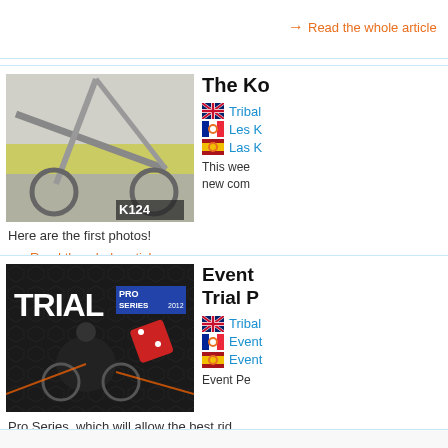Read the whole article
[Figure (photo): Close-up photo of a white and yellow BMX/trial bike frame with 'K124' branding]
The Ko
Tribal
Les K
Las K
This wee new com
Here are the first photos!
Read the whole article
[Figure (photo): Trial Pro Series 2012 promotional image showing a BMX rider performing a trick with dice graphics]
Event Trial P
Tribal
Event
Event
Event Pe Pro Series, which will allow the best rid UCI title and a prize fund of €6000! The
Read the whole article